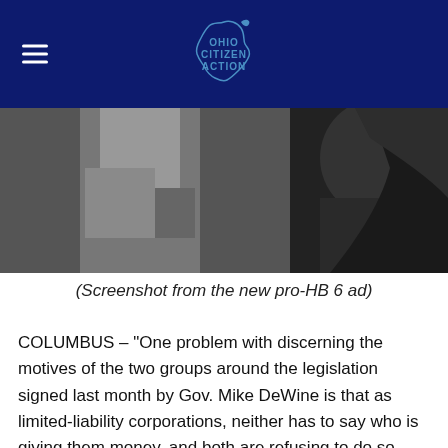Ohio Citizen Action
[Figure (photo): Black and white photo of a person, screenshot from pro-HB 6 ad]
(Screenshot from the new pro-HB 6 ad)
COLUMBUS – "One problem with discerning the motives of the two groups around the legislation signed last month by Gov. Mike DeWine is that as limited-liability corporations, neither has to say who is giving them money, and both are refusing to do so.
'We're not going to get distracted,' Pierce said. 'We'll make our filings.'